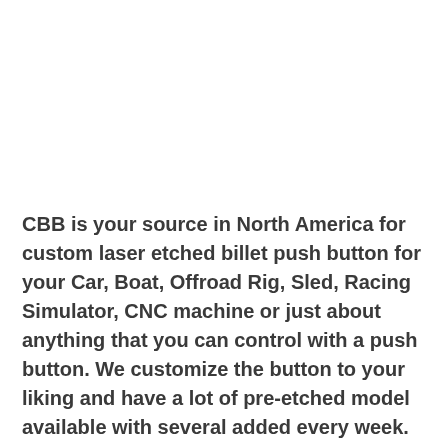CBB is your source in North America for custom laser etched billet push button for your Car, Boat, Offroad Rig, Sled, Racing Simulator, CNC machine or just about anything that you can control with a push button. We customize the button to your liking and have a lot of pre-etched model available with several added every week. With their IP67 rating and 12V operating voltage, they can be used in a wide range of application! Not only do we have the lowest price on